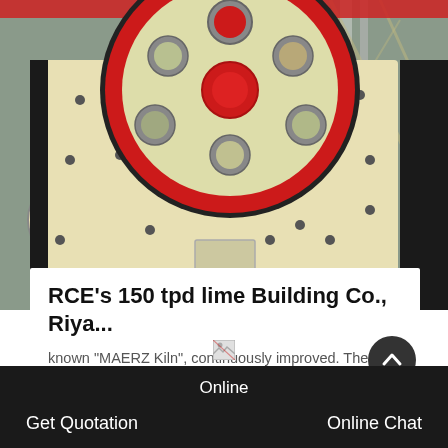[Figure (photo): Industrial jaw crusher machine photographed in a factory setting. The machine is cream/beige colored with a large red flywheel on top featuring circular holes/ports. The machine body is heavily bolted. Background shows industrial warehouse structure with red beams.]
RCE's 150 tpd lime Building Co., Riya...
known “MAERZ Kiln”, continuously improved. The initial design was an oil fi red lime kiln of 100 tpd capacity. Soon
GET PRICE
Online
Get Quotation
Online Chat